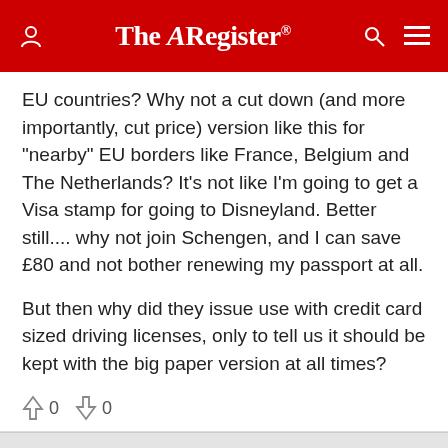The Register
EU countries? Why not a cut down (and more importantly, cut price) version like this for "nearby" EU borders like France, Belgium and The Netherlands? It's not like I'm going to get a Visa stamp for going to Disneyland. Better still.... why not join Schengen, and I can save £80 and not bother renewing my passport at all.

But then why did they issue use with credit card sized driving licenses, only to tell us it should be kept with the big paper version at all times?
Holiday text messages to cost less than 9p
Thursday 4th September 2008 14:45 GMT
Chris Hamilton
Report abuse